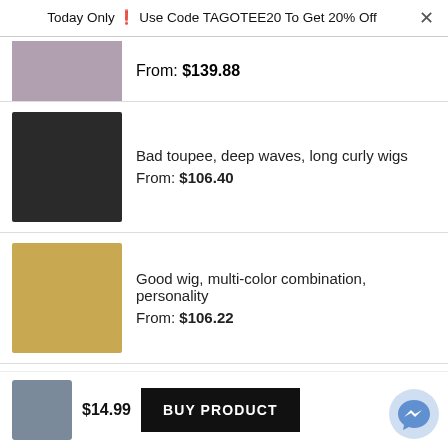Today Only ❗ Use Code TAGOTEE20 To Get 20% Off
From: $139.88
[Figure (photo): Product thumbnail of long curly dark wig]
Bad toupee, deep waves, long curly wigs
From: $106.40
[Figure (photo): Product thumbnail of multi-color combination wig]
Good wig, multi-color combination, personality
From: $106.22
FEATURED
[Figure (photo): Product thumbnail of red hoodie - St. Louis Cardinals MLB Skull 3D Printed Hoodie Zipper Hooded Jacket]
St. Louis Cardinals MLB Skull 3D Printed Hoodie Zipper Hooded Jacket
$14.99
BUY PRODUCT